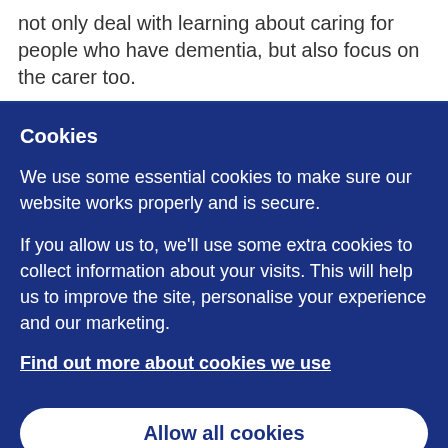not only deal with learning about caring for people who have dementia, but also focus on the carer too.
Cookies
We use some essential cookies to make sure our website works properly and is secure.
If you allow us to, we'll use some extra cookies to collect information about your visits. This will help us to improve the site, personalise your experience and our marketing.
Find out more about cookies we use
Allow all cookies